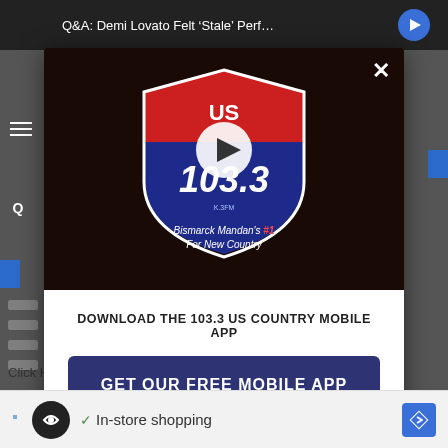Q&A: Demi Lovato Felt 'Stale' Perf...
[Figure (logo): US 103.3 FM radio station logo with highway shield design. Text reads 'Bismarck Mandan's #1 For New Country'. A play button circle is overlaid in the center.]
DOWNLOAD THE 103.3 US COUNTRY MOBILE APP
GET OUR FREE MOBILE APP
Also listen on:  amazon alexa
Click H...
✓ In-store shopping